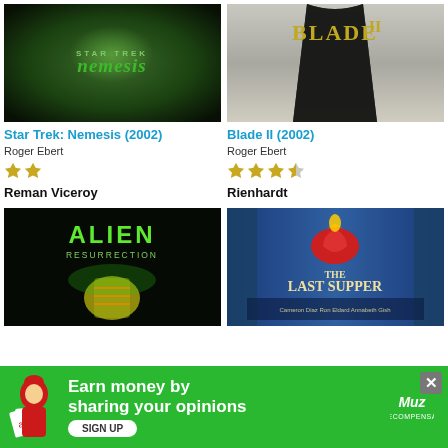[Figure (photo): Movie poster for Star Trek: Nemesis (2002) - dark green atmospheric poster with the Nemesis title text]
Star Trek: Nemesis (2002)
Roger Ebert
2 stars
Reman Viceroy
[Figure (photo): Movie poster for Blade II (2002) - dark poster with a caped figure]
Blade II (2002)
Roger Ebert
3.5 stars
Rienhardt
[Figure (photo): Movie poster for Alien Resurrection - dark poster with green alien imagery]
[Figure (photo): Movie poster for The Last Supper - colorful poster with stained glass window and group of people]
[Figure (other): Advertisement banner: Earn money by sharing your opinions. Sign Up. Green background with Muz Recompensas logo.]